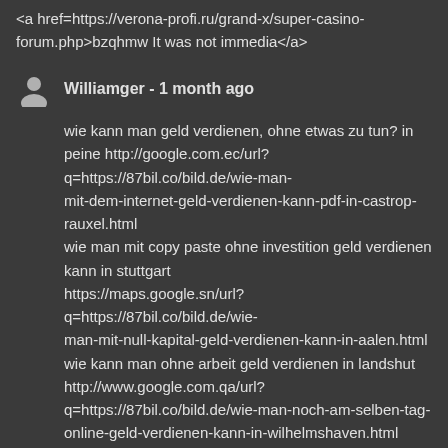<a href=https://verona-profi.ru/grand-x/super-casino-forum.php>bzqhmw It was not immedia</a>
Williamger - 1 month ago
wie kann man geld verdienen, ohne etwas zu tun? in peine http://google.com.ec/url?q=https://87bil.co/bild.de/wie-man-mit-dem-internet-geld-verdienen-kann-pdf-in-castrop-rauxel.html wie man mit copy paste ohne investition geld verdienen kann in stuttgart https://maps.google.sn/url?q=https://87bil.co/bild.de/wie-man-mit-null-kapital-geld-verdienen-kann-in-aalen.html wie kann man ohne arbeit geld verdienen in landshut http://www.google.com.qa/url?q=https://87bil.co/bild.de/wie-man-noch-am-selben-tag-online-geld-verdienen-kann-in-wilhelmshaven.html wie man tatsachlich online geld verdient in hildesheim https://maps.google.com.ly/url?q=https://87bil.co/bild.de/wie-man-mit-paid2youtube-geld-verdienen-kann-in-langenfeld.html